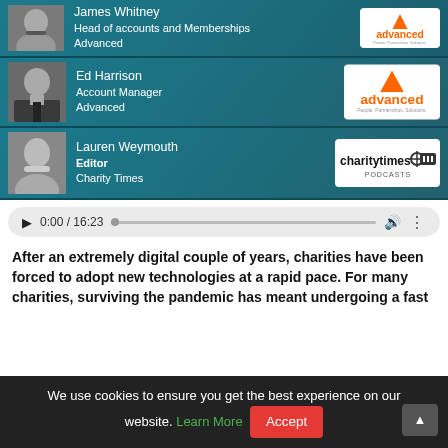[Figure (photo): Speaker card 1: James Whitney headshot (grayscale), name and title, Advanced logo]
[Figure (photo): Speaker card 2: Ed Harrison headshot (grayscale), name and title, Advanced logo]
[Figure (photo): Speaker card 3: Lauren Weymouth headshot (grayscale), name and title, Charity Times Podcasts logo]
[Figure (screenshot): Audio player showing 0:00 / 16:23 with play button, progress bar, volume and more controls]
After an extremely digital couple of years, charities have been forced to adopt new technologies at a rapid pace. For many charities, surviving the pandemic has meant undergoing a fast
We use cookies to ensure you get the best experience on our website. Learn More Accept